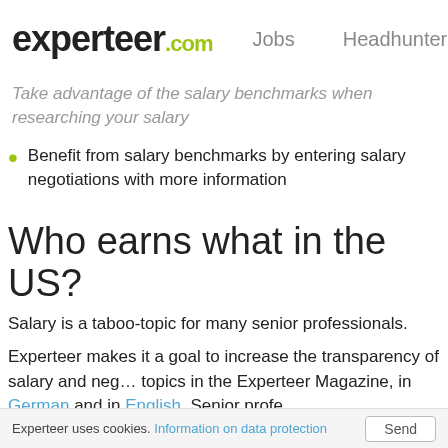experteer.com  Jobs  Headhunter
Take advantage of the salary benchmarks when researching your salary
Benefit from salary benchmarks by entering salary negotiations with more information
Who earns what in the US?
Salary is a taboo-topic for many senior professionals.
Experteer makes it a goal to increase the transparency of salary and neg… topics in the Experteer Magazine, in German and in English. Senior profe…
Who earns what in the US?
How can you, as a senior professional, get a higher salary in your cur…
Experteer uses cookies. Information on data protection  Send